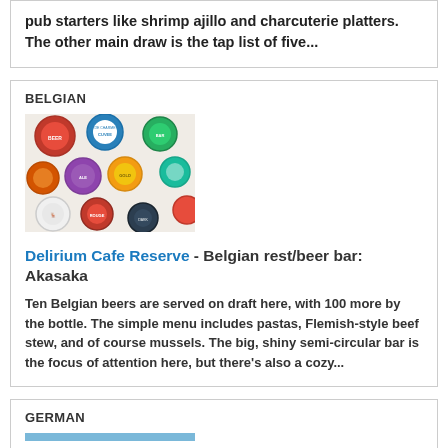pub starters like shrimp ajillo and charcuterie platters. The other main draw is the tap list of five...
BELGIAN
[Figure (photo): Photo of colorful beer bottle caps/coasters arranged on a wall]
Delirium Cafe Reserve - Belgian rest/beer bar: Akasaka
Ten Belgian beers are served on draft here, with 100 more by the bottle. The simple menu includes pastas, Flemish-style beef stew, and of course mussels. The big, shiny semi-circular bar is the focus of attention here, but there's also a cozy...
GERMAN